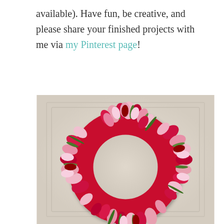available). Have fun, be creative, and please share your finished projects with me via my Pinterest page!
[Figure (photo): A decorative wreath made of pink, hot pink, and red tulips with green leaves, hanging on a white paneled door.]